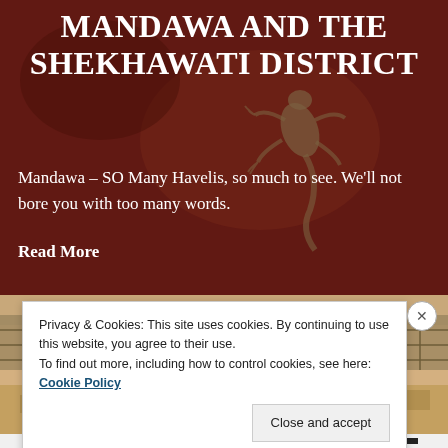MANDAWA AND THE SHEKHAWATI DISTRICT
Mandawa – SO Many Havelis, so much to see. We'll not bore you with too many words.
Read More
[Figure (photo): Photo strip showing a street scene in India with Hindi signage reading 'सावधान' (Savdhan/Caution) and buildings with fencing]
Privacy & Cookies: This site uses cookies. By continuing to use this website, you agree to their use.
To find out more, including how to control cookies, see here: Cookie Policy
Close and accept